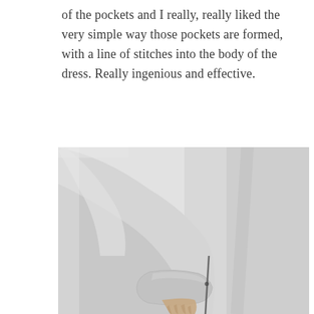of the pockets and I really, really liked the very simple way those pockets are formed, with a line of stitches into the body of the dress. Really ingenious and effective.
[Figure (photo): Close-up photo of a person wearing a light grey sweatshirt/dress, showing their arm with the sleeve and hand tucked into a pocket. The pocket is formed by a line of stitches into the body of the garment.]